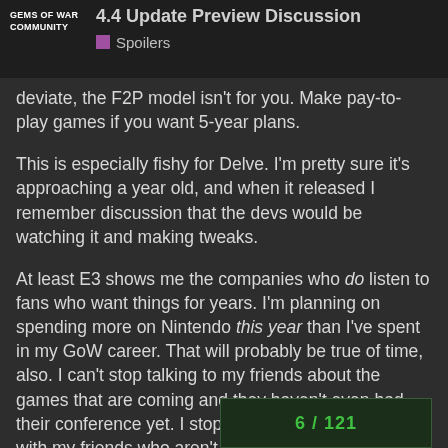4.4 Update Preview Discussion
Spoilers
deviate, the F2P model isn't for you. Make pay-to-play games if you want 5-year plans.
This is especially fishy for Delve. I'm pretty sure it's approaching a year old, and when it released I remember discussion that the devs would be watching it and making tweaks.
At least E3 shows me the companies who do listen to fans who want things for years. I'm planning on spending more on Nintendo this year than I've spent in my GoW career. That will probably be true of time, also. I can't stop talking to my friends about the games that are coming and they haven't even had their conference yet. I stopped talking about GoW with my friends who aren't already playing a year ago, and the reasons I stopped still persist.
[Figure (other): Dark green button/badge area at the bottom right showing text in green color]